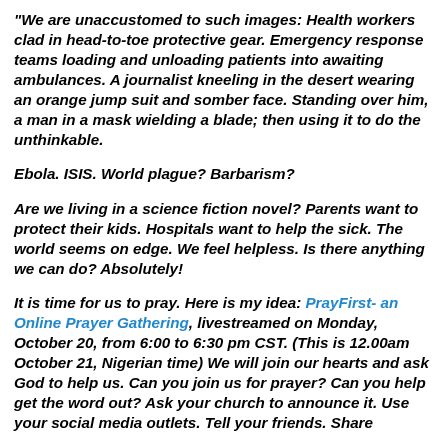"We are unaccustomed to such images: Health workers clad in head-to-toe protective gear. Emergency response teams loading and unloading patients into awaiting ambulances. A journalist kneeling in the desert wearing an orange jump suit and somber face. Standing over him, a man in a mask wielding a blade; then using it to do the unthinkable.
Ebola. ISIS. World plague? Barbarism?
Are we living in a science fiction novel? Parents want to protect their kids. Hospitals want to help the sick. The world seems on edge. We feel helpless. Is there anything we can do? Absolutely!
It is time for us to pray. Here is my idea: PrayFirst- an Online Prayer Gathering, livestreamed on Monday, October 20, from 6:00 to 6:30 pm CST. (This is 12.00am October 21, Nigerian time) We will join our hearts and ask God to help us. Can you join us for prayer? Can you help get the word out? Ask your church to announce it. Use your social media outlets. Tell your friends. Share